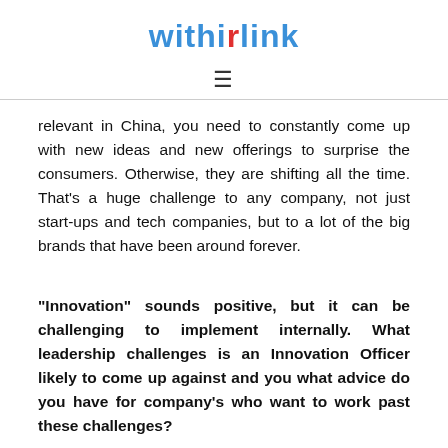withinlink
relevant in China, you need to constantly come up with new ideas and new offerings to surprise the consumers. Otherwise, they are shifting all the time. That’s a huge challenge to any company, not just start-ups and tech companies, but to a lot of the big brands that have been around forever.
“Innovation” sounds positive, but it can be challenging to implement internally. What leadership challenges is an Innovation Officer likely to come up against and you what advice do you have for company’s who want to work past these challenges?